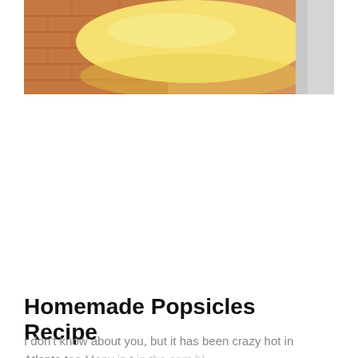[Figure (photo): A close-up photo of a yellow popsicle or frozen treat, partially visible on a textured orange/brown surface with a light-colored background on the right.]
Homemade Popsicles Recipe
I don't know about you, but it has been crazy hot in Atlanta tee Many in t in the com bl